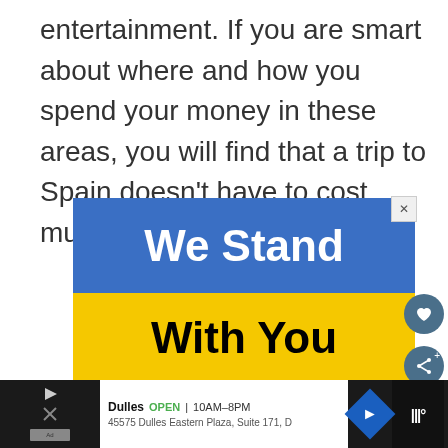entertainment. If you are smart about where and how you spend your money in these areas, you will find that a trip to Spain doesn't have to cost much at all.
[Figure (infographic): Advertisement banner with blue top half reading 'We Stand' in white bold text and yellow bottom half reading 'With You' in black bold text. Small X close button in top right corner.]
Dulles OPEN | 10AM–8PM 45575 Dulles Eastern Plaza, Suite 171, D